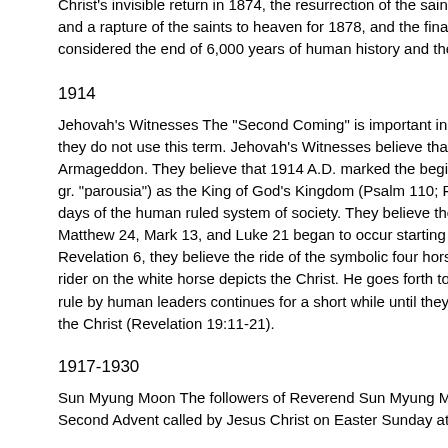Christ's invisible return in 1874, the resurrection of the saints in 1878, and a rapture of the saints to heaven for 1878, and the final end of "the da considered the end of 6,000 years of human history and the beginning of j
1914
Jehovah's Witnesses The "Second Coming" is important in the doctrine of they do not use this term. Jehovah's Witnesses believe that Christ's visible Armageddon. They believe that 1914 A.D. marked the beginning of Christ gr. "parousia") as the King of God's Kingdom (Psalm 110; Revelation 12:1 days of the human ruled system of society. They believe the signs Christ m Matthew 24, Mark 13, and Luke 21 began to occur starting in 1914. In a p Revelation 6, they believe the ride of the symbolic four horsemen began in rider on the white horse depicts the Christ. He goes forth to complete his c rule by human leaders continues for a short while until they meet their enc the Christ (Revelation 19:11-21).
1917-1930
Sun Myung Moon The followers of Reverend Sun Myung Moon consider h Second Advent called by Jesus Christ on Easter Sunday at the age of 15 ...
1930
Rudolf Steiner Steiner described the physical incarnation of Christ as ...